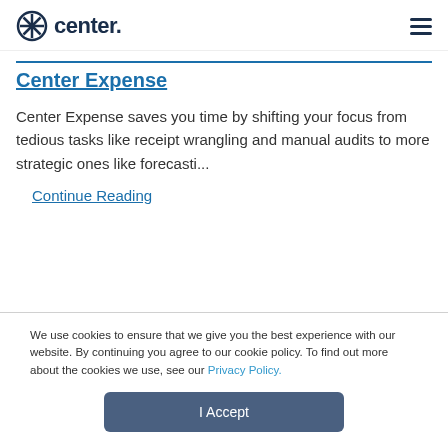center
Center Expense
Center Expense saves you time by shifting your focus from tedious tasks like receipt wrangling and manual audits to more strategic ones like forecasti...
Continue Reading
We use cookies to ensure that we give you the best experience with our website. By continuing you agree to our cookie policy. To find out more about the cookies we use, see our Privacy Policy.